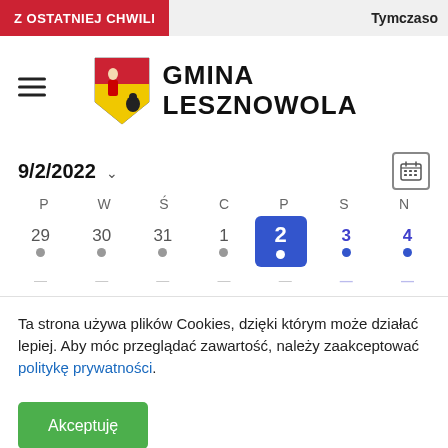Z OSTATNIEJ CHWILI | Tymczaso...
[Figure (logo): Gmina Lesznowola coat of arms logo with text GMINA LESZNOWOLA]
9/2/2022
[Figure (other): Calendar grid showing September 2022. Days P W Ś C P S N. Row: 29 30 31 1 2(selected/blue) 3 4. Each date has a dot indicator. Day 2 is highlighted in blue square.]
Ta strona używa plików Cookies, dzięki którym może działać lepiej. Aby móc przeglądać zawartość, należy zaakceptować politykę prywatności.
Akceptuję